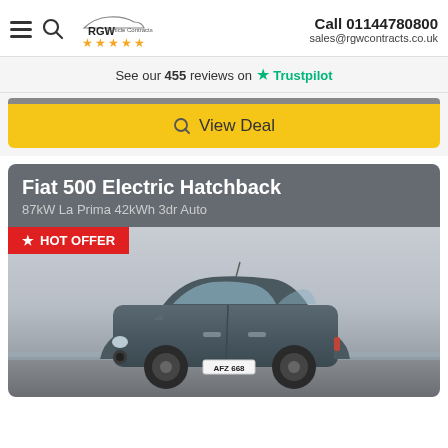RGW Vehicle Contracts ★★★★★ | Call 01144780800 | sales@rgwcontracts.co.uk
See our 455 reviews on ★ Trustpilot
View Deal
Fiat 500 Electric Hatchback
87kW La Prima 42kWh 3dr Auto
[Figure (photo): Fiat 500 Electric Hatchback in dark grey/blue color parked on a beach with cloudy sky. HOT OFFER badge in red at top left. License plate AFZ 668.]